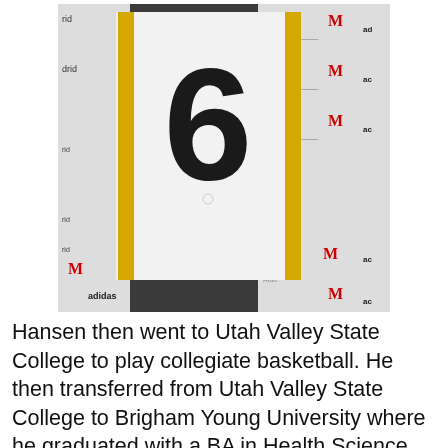[Figure (photo): A person holding up a white Real Madrid basketball jersey with the number 6 and gold/yellow side stripes, standing in front of a sponsor backdrop with 'madrid', 'M' (in red), and 'adidas' logos.]
Hansen then went to Utah Valley State College to play collegiate basketball. He then transferred from Utah Valley State College to Brigham Young University where he graduated with a BA in Health Science. He